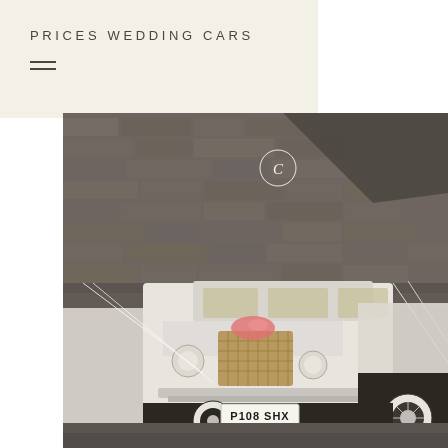PRICES WEDDING CARS
[Figure (photo): Two vintage-style white wedding cars decorated with white ribbons and floral bouquets, parked in front of a stone wall. The foreground car has a registration plate reading P108 SHX. A copyright watermark circle is visible in the upper portion of the photo.]